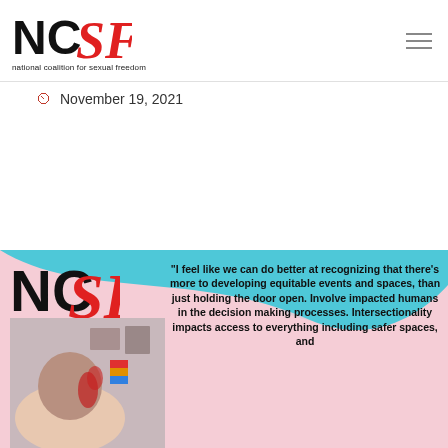[Figure (logo): NCSF National Coalition for Sexual Freedom logo with black NC and red SF letters, with tagline 'national coalition for sexual freedom']
November 19, 2021
Continue reading  >
[Figure (photo): NCSF branded image card with cyan and pink background showing person from behind with red hair highlights, and quote text: "I feel like we can do better at recognizing that there’s more to developing equitable events and spaces, than just holding the door open. Involve impacted humans in the decision making processes. Intersectionality impacts access to everything including safer spaces, and"]